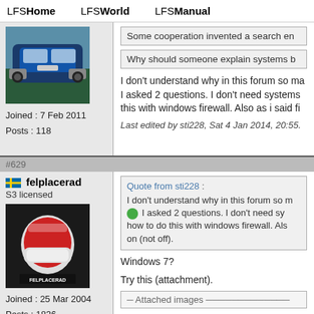LFSHome   LFSWorld   LFSManual
[Figure (photo): Blue car (Subaru) front view photo, user avatar]
Joined : 7 Feb 2011
Posts : 118
Some cooperation invented a search en
Why should someone explain systems b
I don't understand why in this forum so ma I asked 2 questions. I don't need systems this with windows firewall. Also as i said fi
Last edited by sti228, Sat 4 Jan 2014, 20:55.
#629
felplacerad
S3 licensed
[Figure (photo): Racing helmet avatar image for user felplacerad]
Joined : 25 Mar 2004
Posts : 1836
Quote from sti228 :
I don't understand why in this forum so m I asked 2 questions. I don't need sy how to do this with windows firewall. Als on (not off).
Windows 7?
Try this (attachment).
Attached images